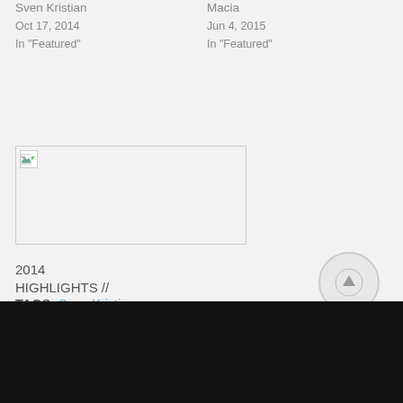Sven Kristian
Oct 17, 2014
In "Featured"
Macia
Jun 4, 2015
In "Featured"
[Figure (photo): Broken image thumbnail placeholder]
2014 HIGHLIGHTS // The Trends
Dec 10, 2014
In "Art"
TAGS: Sven Kristian
[Figure (other): Back to top button - circular arrow up icon at bottom right]